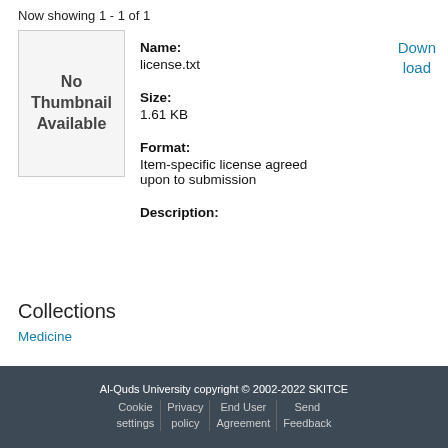Now showing 1 - 1 of 1
[Figure (other): No Thumbnail Available placeholder box]
Name:
license.txt
Down
load
Size:
1.61 KB
Format:
Item-specific license agreed upon to submission
Description:
Collections
Medicine
Al-Quds University copyright © 2002-2022 SKITCE
Cookie settings | Privacy policy | End User Agreement | Send Feedback